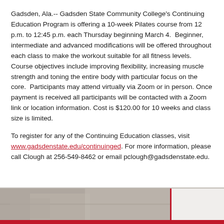Gadsden, Ala.-- Gadsden State Community College's Continuing Education Program is offering a 10-week Pilates course from 12 p.m. to 12:45 p.m. each Thursday beginning March 4.  Beginner, intermediate and advanced modifications will be offered throughout each class to make the workout suitable for all fitness levels.  Course objectives include improving flexibility, increasing muscle strength and toning the entire body with particular focus on the core.  Participants may attend virtually via Zoom or in person. Once payment is received all participants will be contacted with a Zoom link or location information. Cost is $120.00 for 10 weeks and class size is limited.
To register for any of the Continuing Education classes, visit www.gadsdenstate.edu/continuinged. For more information, please call Clough at 256-549-8462 or email pclough@gadsdenstate.edu.
[Figure (photo): Partial view of a photograph at the bottom of the page, appears to show an outdoor or group scene, cropped. A red border box appears on the right portion.]